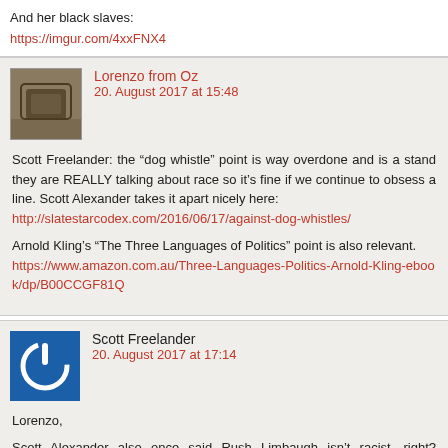And her black slaves:
https://imgur.com/4xxFNX4
Lorenzo from Oz
20. August 2017 at 15:48
Scott Freelander: the “dog whistle” point is way overdone and is a stand... they are REALLY talking about race so it’s fine if we continue to obsess a... line. Scott Alexander takes it apart nicely here: http://slatestarcodex.com/2016/06/17/against-dog-whistles/

Arnold Kling’s “The Three Languages of Politics” point is also relevant. https://www.amazon.com.au/Three-Languages-Politics-Arnold-Kling-ebook/dp/B00CCGF81Q
Scott Freelander
20. August 2017 at 17:14
Lorenzo,
Scott Alexander also once said Rush Limbaugh isn’t racist, right? Limbaugh...